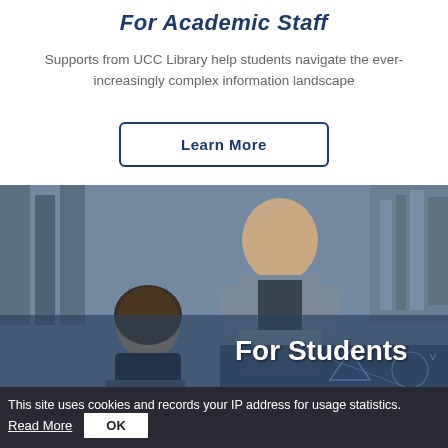For Academic Staff
Supports from UCC Library help students navigate the ever-increasingly complex information landscape
Learn More
[Figure (photo): Library photo showing students studying, overlaid with 'For Students' text label]
This site uses cookies and records your IP address for usage statistics.
Read More
OK